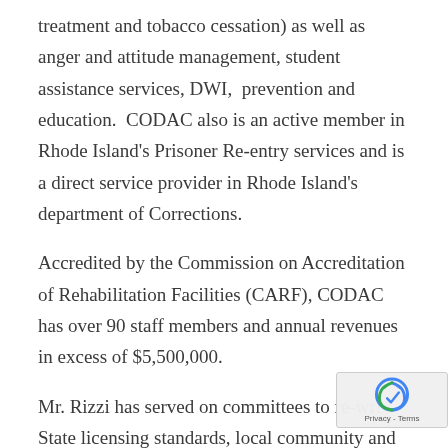treatment and tobacco cessation) as well as anger and attitude management, student assistance services, DWI,  prevention and education.  CODAC also is an active member in Rhode Island's Prisoner Re-entry services and is a direct service provider in Rhode Island's department of Corrections.
Accredited by the Commission on Accreditation of Rehabilitation Facilities (CARF), CODAC has over 90 staff members and annual revenues in excess of $5,500,000.
Mr. Rizzi has served on committees to re-write State licensing standards, local community and